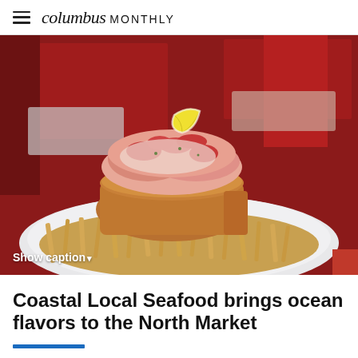columbus MONTHLY
[Figure (photo): A lobster roll sandwich on toasted bread served on a white plate piled with thin french fries, with a lemon wedge on top, set against a red background.]
Show caption▾
Coastal Local Seafood brings ocean flavors to the North Market